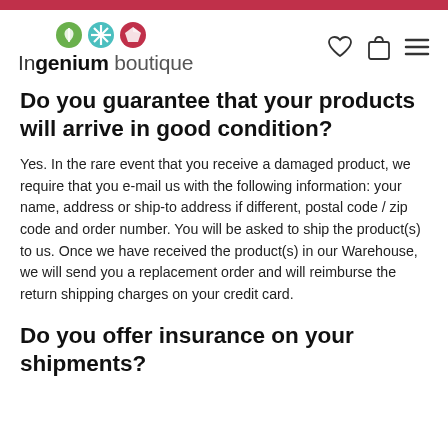Ingenium boutique
Do you guarantee that your products will arrive in good condition?
Yes. In the rare event that you receive a damaged product, we require that you e-mail us with the following information: your name, address or ship-to address if different, postal code / zip code and order number. You will be asked to ship the product(s) to us. Once we have received the product(s) in our Warehouse, we will send you a replacement order and will reimburse the return shipping charges on your credit card.
Do you offer insurance on your shipments?